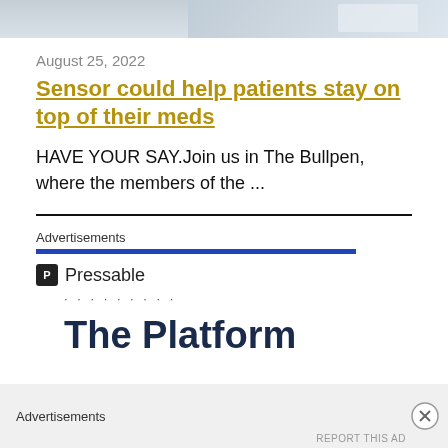[Figure (photo): Partial photo showing medical/pharmaceutical items at top of page]
August 25, 2022
Sensor could help patients stay on top of their meds
HAVE YOUR SAY.Join us in The Bullpen, where the members of the ...
[Figure (other): Advertisements section with Pressable logo and 'The Platform' text, with blue bar separator]
Advertisements